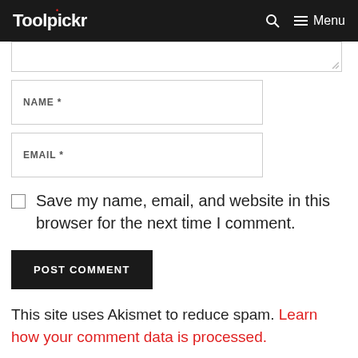Toolpickr  Menu
[Figure (screenshot): Partial textarea input box (top of comment form)]
NAME *
EMAIL *
Save my name, email, and website in this browser for the next time I comment.
POST COMMENT
This site uses Akismet to reduce spam. Learn how your comment data is processed.